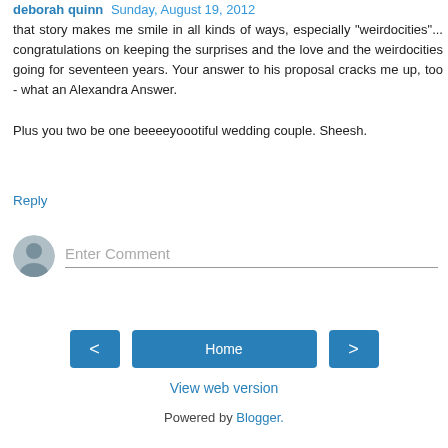deborah quinn Sunday, August 19, 2012
that story makes me smile in all kinds of ways, especially "weirdocities"... congratulations on keeping the surprises and the love and the weirdocities going for seventeen years. Your answer to his proposal cracks me up, too - what an Alexandra Answer.

Plus you two be one beeeeyoootiful wedding couple. Sheesh.
Reply
[Figure (other): Comment input area with avatar icon and 'Enter Comment' placeholder text field]
Home
View web version
Powered by Blogger.